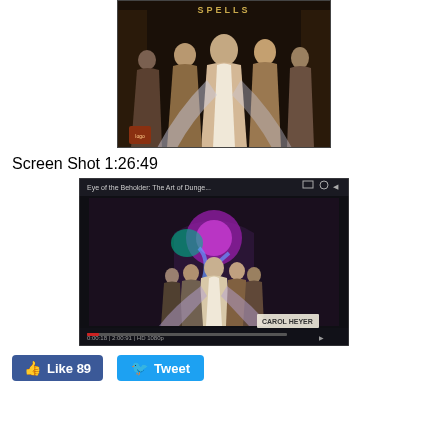[Figure (illustration): Book cover or illustration showing robed figures including a central tall male figure surrounded by other robed characters, dark fantasy art style, with text 'SPELLS' at the top and a small logo at the bottom left.]
Screen Shot 1:26:49
[Figure (screenshot): Screenshot of a video player showing 'Eye of the Beholder: The Art of Dunge...' with fantasy artwork depicting robed figures in an archway with colorful magical energy, signed 'CAROL HEYER' at the bottom right. Video player controls and timeline are visible at the bottom.]
Like 89   Tweet